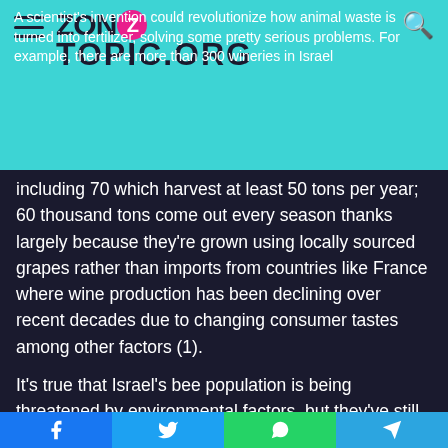ZoneTopic.org — A scientist's invention could revolutionize how animal waste is turned into fertilizer, solving some pretty serious problems. For example, there are more than 300 wineries in Israel
including 70 which harvest at least 50 tons per year; 60 thousand tons come out every season thanks largely because they're grown using locally sourced grapes rather than imports from countries like France where wine production has been declining over recent decades due to changing consumer tastes among other factors (1).
It's true that Israel's bee population is being threatened by environmental factors, but they've still managed to come up with some innovative ways of protecting theirbees. For instance: An Israeli company developed the world's first autonomous beehive-a box with space for 40 colonies and all
Facebook | Twitter | WhatsApp | Telegram